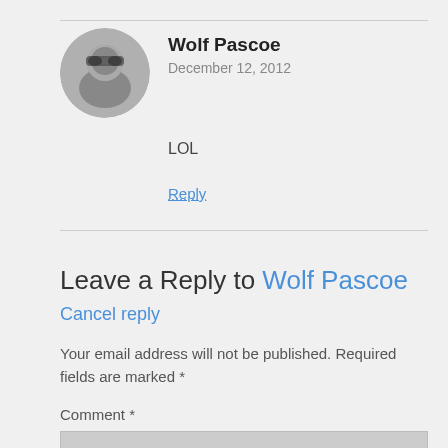[Figure (photo): Circular avatar photo of a person wearing sunglasses, black and white/grayscale tone]
Wolf Pascoe
December 12, 2012
LOL
Reply
Leave a Reply to Wolf Pascoe Cancel reply
Your email address will not be published. Required fields are marked *
Comment *